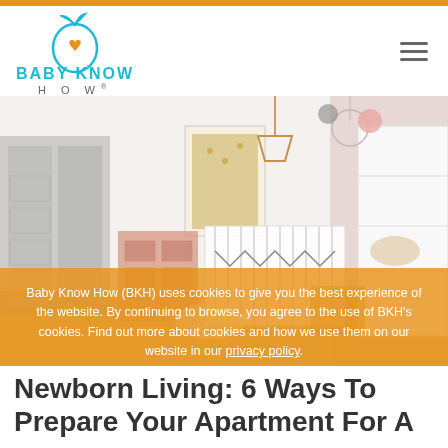[Figure (logo): Baby Know How logo — teal pear shape with heart, teal text BABY KNOW and grey HOW below]
[Figure (photo): Nursery room photo showing a baby crib with bunting, pink dresser, grey wardrobe, gold artwork on wall, pendant lights, colourful pom poms, yellow rug]
Baby Know How (BKH) uses cookies to give you the best experience of the website. By continuing to browse, you agree to the use of BKH's cookies. Find out more about cookies and how we use them on our website in our privacy policy.
ACCEPT
Newborn Living: 6 Ways To Prepare Your Apartment For A